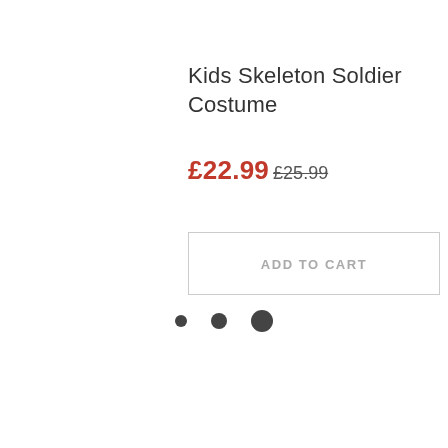Kids Skeleton Soldier Costume
£22.99 £25.99
ADD TO CART
[Figure (other): Three dots of increasing size indicating a loading or pagination indicator]